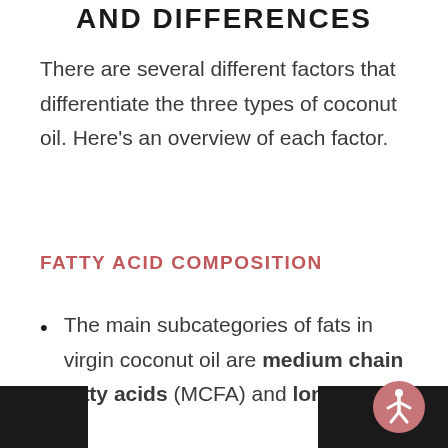AND DIFFERENCES
There are several different factors that differentiate the three types of coconut oil. Here's an overview of each factor.
FATTY ACID COMPOSITION
The main subcategories of fats in virgin coconut oil are medium chain fatty acids (MCFA) and long chain